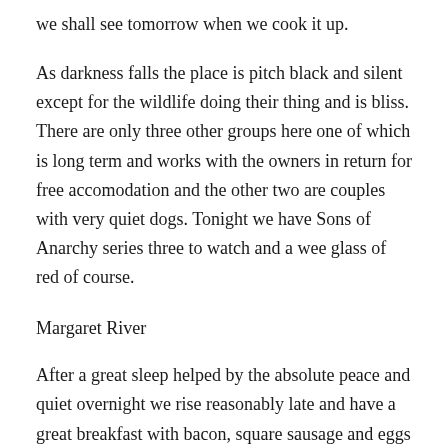we shall see tomorrow when we cook it up.
As darkness falls the place is pitch black and silent except for the wildlife doing their thing and is bliss. There are only three other groups here one of which is long term and works with the owners in return for free accomodation and the other two are couples with very quiet dogs. Tonight we have Sons of Anarchy series three to watch and a wee glass of red of course.
Margaret River
After a great sleep helped by the absolute peace and quiet overnight we rise reasonably late and have a great breakfast with bacon, square sausage and eggs on the Webber. Within the farm there is a fantastic walk through some amazing grounds with huge tall trees where lots of cows watch as you go through to Margaret River itself which the property sits on. The walk is a delight and all we have to do is follow the